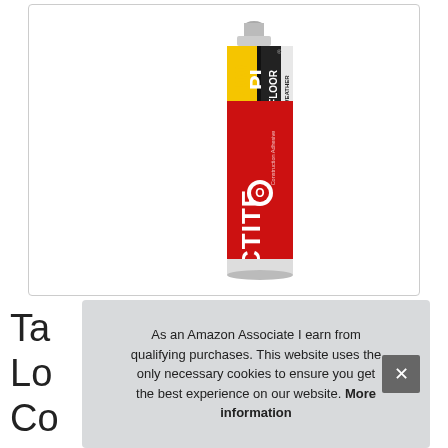[Figure (photo): Loctite PL 400 Subfloor All Weather Construction Adhesive caulk tube, red with black and yellow branding, shown vertically]
Ta
Lo
Co
As an Amazon Associate I earn from qualifying purchases. This website uses the only necessary cookies to ensure you get the best experience on our website. More information